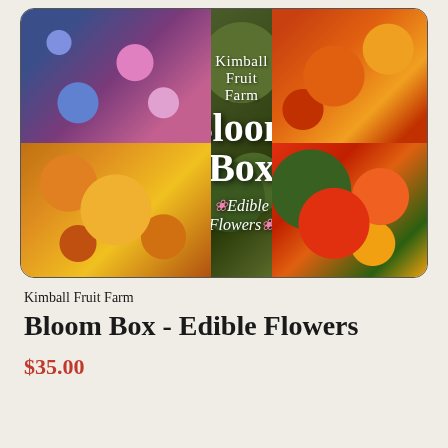[Figure (photo): Product image for Kimball Fruit Farm Bloom Box Edible Flowers. A collage of flower photos arranged in a grid: top-left shows pink and blue bachelor buttons, center shows dark green foliage with 'Kimball Fruit Farm / Bloom Box / Edible Flowers' text overlay in white, top-right shows orange and yellow marigolds, bottom-left shows orange and yellow calendula flowers, bottom-right shows red and orange nasturtiums with green leaves.]
Kimball Fruit Farm
Bloom Box - Edible Flowers
$35.00